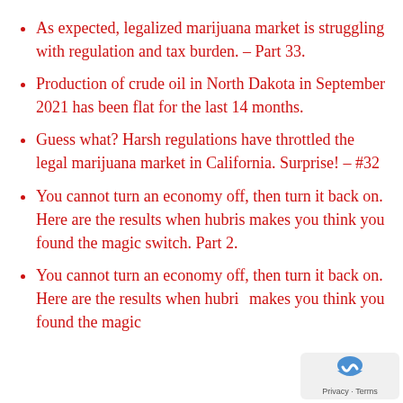As expected, legalized marijuana market is struggling with regulation and tax burden. – Part 33.
Production of crude oil in North Dakota in September 2021 has been flat for the last 14 months.
Guess what? Harsh regulations have throttled the legal marijuana market in California. Surprise! – #32
You cannot turn an economy off, then turn it back on. Here are the results when hubris makes you think you found the magic switch. Part 2.
You cannot turn an economy off, then turn it back on. Here are the results when hubris makes you think you found the magic